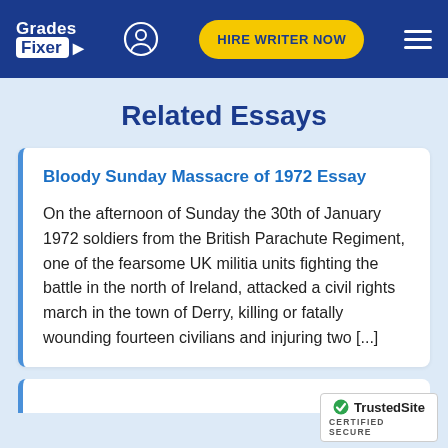[Figure (logo): Grades Fixer logo in white on dark blue header, with navigation icons including a user icon, yellow 'HIRE WRITER NOW' button, and hamburger menu]
Related Essays
Bloody Sunday Massacre of 1972 Essay
On the afternoon of Sunday the 30th of January 1972 soldiers from the British Parachute Regiment, one of the fearsome UK militia units fighting the battle in the north of Ireland, attacked a civil rights march in the town of Derry, killing or fatally wounding fourteen civilians and injuring two [...]
[Figure (logo): TrustedSite Certified Secure badge in bottom right corner]